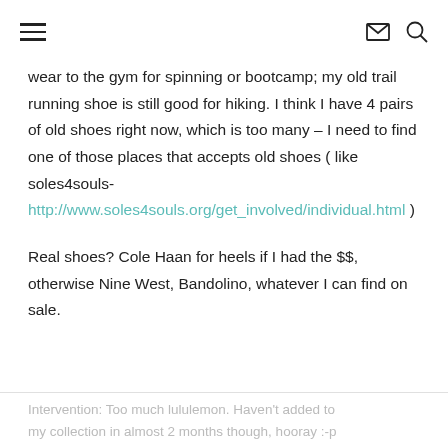≡  ✉ 🔍
wear to the gym for spinning or bootcamp; my old trail running shoe is still good for hiking. I think I have 4 pairs of old shoes right now, which is too many – I need to find one of those places that accepts old shoes ( like soles4souls- http://www.soles4souls.org/get_involved/individual.html )
Real shoes? Cole Haan for heels if I had the $$, otherwise Nine West, Bandolino, whatever I can find on sale.
Intervention: Too much lululemon. Haven't added to my collection in almost 2 months though, hooray :-p